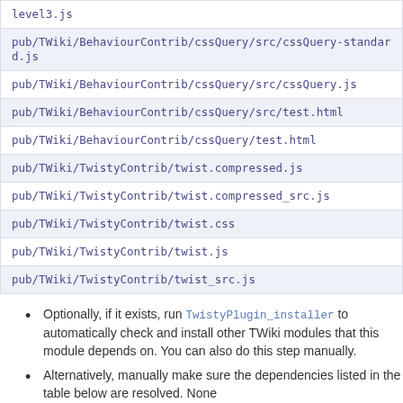| level3.js |
| pub/TWiki/BehaviourContrib/cssQuery/src/cssQuery-standard.js |
| pub/TWiki/BehaviourContrib/cssQuery/src/cssQuery.js |
| pub/TWiki/BehaviourContrib/cssQuery/src/test.html |
| pub/TWiki/BehaviourContrib/cssQuery/test.html |
| pub/TWiki/TwistyContrib/twist.compressed.js |
| pub/TWiki/TwistyContrib/twist.compressed_src.js |
| pub/TWiki/TwistyContrib/twist.css |
| pub/TWiki/TwistyContrib/twist.js |
| pub/TWiki/TwistyContrib/twist_src.js |
Optionally, if it exists, run TwistyPlugin_installer to automatically check and install other TWiki modules that this module depends on. You can also do this step manually.
Alternatively, manually make sure the dependencies listed in the table below are resolved. None
Visit configure in your TWiki installation, and enable the plugin in the {Plugins} section.